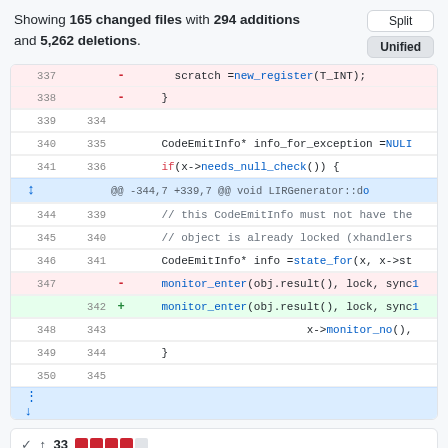Showing 165 changed files with 294 additions and 5,262 deletions.
[Figure (screenshot): GitHub unified diff view showing code changes in a C++ file. Lines 337-350 shown with deletions highlighted in red and additions in green. A hunk header shows @@ -344,7 +339,7 @@ void LIRGenerator::do...]
33 [colored blocks]